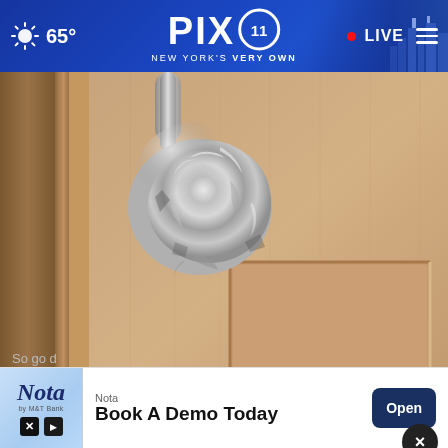65° PIX11 NEW YORK'S VERY OWN LIVE
[Figure (photo): A door knob wrapped in aluminum foil on a beige/tan interior door]
Wrap Foil Around Your Doorknob at Night if Alone, Here's Why
So go d...
[Figure (other): Advertisement banner: Nota - Book A Demo Today - Open button]